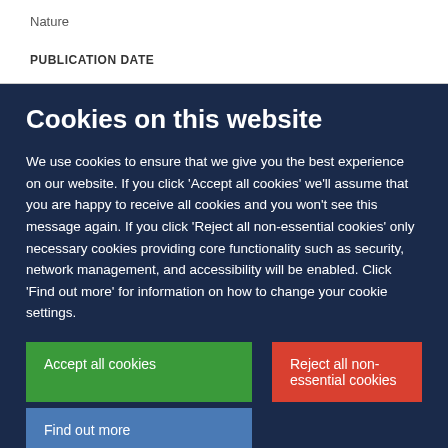Nature
PUBLICATION DATE
Cookies on this website
We use cookies to ensure that we give you the best experience on our website. If you click 'Accept all cookies' we'll assume that you are happy to receive all cookies and you won't see this message again. If you click 'Reject all non-essential cookies' only necessary cookies providing core functionality such as security, network management, and accessibility will be enabled. Click 'Find out more' for information on how to change your cookie settings.
Accept all cookies
Reject all non-essential cookies
Find out more